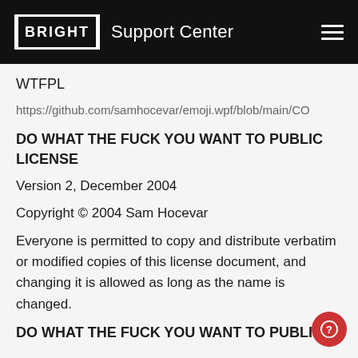BRIGHT Support Center
WTFPL
https://github.com/samhocevar/emoji.wpf/blob/main/CO
DO WHAT THE FUCK YOU WANT TO PUBLIC LICENSE
Version 2, December 2004
Copyright © 2004 Sam Hocevar
Everyone is permitted to copy and distribute verbatim or modified copies of this license document, and changing it is allowed as long as the name is changed.
DO WHAT THE FUCK YOU WANT TO PUBLIC